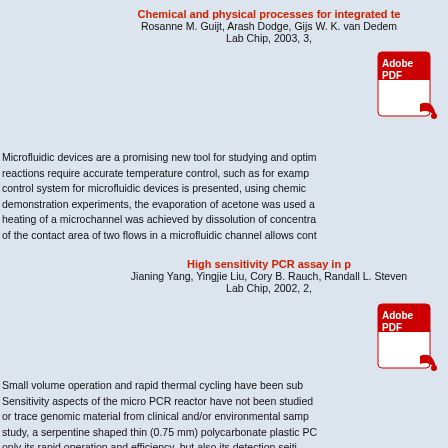Chemical and physical processes for integrated temperature control in microfluidic analytical devices
Rosanne M. Guijt, Arash Dodge, Gijs W. K. van Dedem, …
Lab Chip, 2003, 3, …
[Figure (logo): Adobe PDF icon]
Microfluidic devices are a promising new tool for studying and optimising chemical reactions require accurate temperature control, such as for example PCR. A temperature control system for microfluidic devices is presented, using chemical means. In demonstration experiments, the evaporation of acetone was used as a cooling means, heating of a microchannel was achieved by dissolution of concentrated sulphuric acid, and of the contact area of two flows in a microfluidic channel allows cont…
High sensitivity PCR assay in plastic micro reactors
Jianing Yang, Yingjie Liu, Cory B. Rauch, Randall L. Stevens, …
Lab Chip, 2002, 2, …
[Figure (logo): Adobe PDF icon]
Small volume operation and rapid thermal cycling have been substituted as the major advantages. Sensitivity aspects of the micro PCR reactor have not been studied in detail for amplification of trace or trace genomic material from clinical and/or environmental samples. In this study, a serpentine shaped thin (0.75 mm) polycarbonate plastic PCR chip demonstrates not only its rapid operation and efficiency, but also its detection sensitivity…